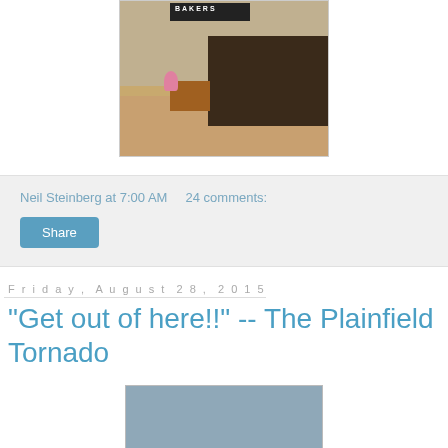[Figure (photo): Interior of a bakery showing a counter, wooden bench, pink flowers, and signage reading 'BAKERS' on the wall.]
Neil Steinberg at 7:00 AM    24 comments:
Share
Friday, August 28, 2015
"Get out of here!!" -- The Plainfield Tornado
[Figure (photo): A gray stormy sky, partial image of the Plainfield tornado.]